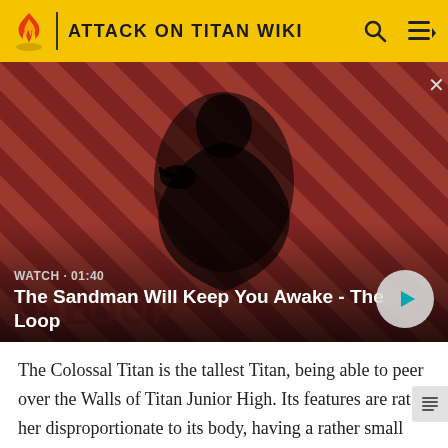ATTACK ON TITAN WIKI
[Figure (screenshot): Video thumbnail: A dark-clad figure with a raven on shoulder against red and black diagonal striped background. Shows 'THE LOOP' text logo. Watch label: WATCH • 01:40. Title: The Sandman Will Keep You Awake - The Loop. Play button visible on right.]
The Colossal Titan is the tallest Titan, being able to peer over the Walls of Titan Junior High. Its features are rather disproportionate to its body, having a rather small head and skinny arms.